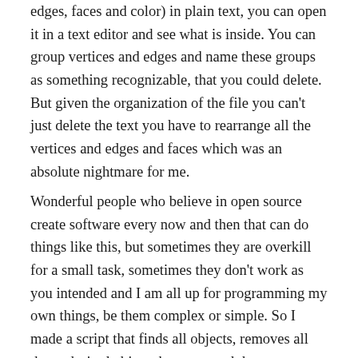edges, faces and color) in plain text, you can open it in a text editor and see what is inside. You can group vertices and edges and name these groups as something recognizable, that you could delete. But given the organization of the file you can't just delete the text you have to rearrange all the vertices and edges and faces which was an absolute nightmare for me.
Wonderful people who believe in open source create software every now and then that can do things like this, but sometimes they are overkill for a small task, sometimes they don't work as you intended and I am all up for programming my own things, be them complex or simple. So I made a script that finds all objects, removes all the undesired objects by name and then